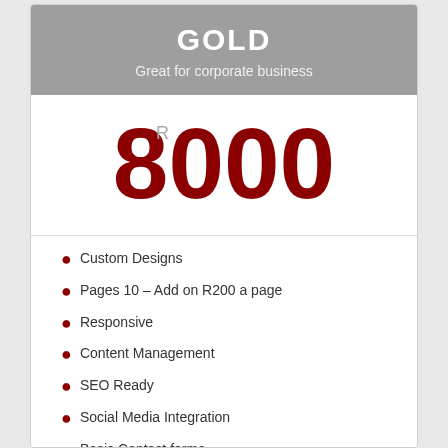GOLD
Great for corporate business
R 8000
Custom Designs
Pages 10 – Add on R200 a page
Responsive
Content Management
SEO Ready
Social Media Integration
Basic Contact forms
google maps